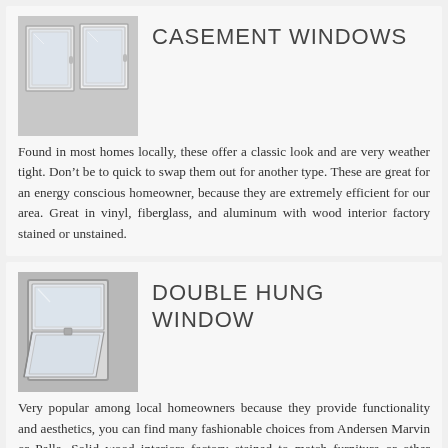[Figure (illustration): Casement window illustration showing two white window frames side by side on a light gray background]
CASEMENT WINDOWS
Found in most homes locally, these offer a classic look and are very weather tight. Don’t be to quick to swap them out for another type. These are great for an energy conscious homeowner, because they are extremely efficient for our area. Great in vinyl, fiberglass, and aluminum with wood interior factory stained or unstained.
[Figure (illustration): Double hung window illustration showing a white window with the lower sash tilted open, on a gray background]
DOUBLE HUNG WINDOW
Very popular among local homeowners because they provide functionality and aesthetics, you can find many fashionable choices from Andersen Marvin or Pella. Solid wood interiors factory stained to match furniture or other interior accents combined with the durability of vinyl, fiberglass, or aluminum.